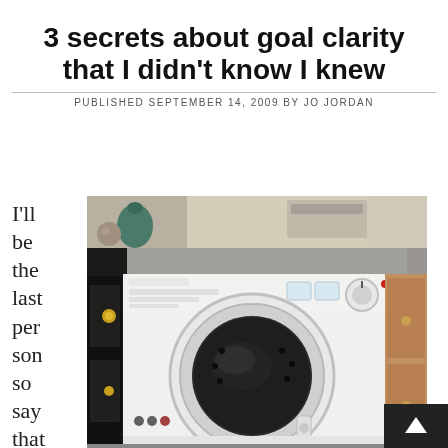3 secrets about goal clarity that I didn't know I knew
PUBLISHED SEPTEMBER 14, 2009 BY JO JORDAN
[Figure (photo): A white front-loading washing machine fitted under a kitchen worktop/countertop, flanked by dark cabinet on the left and wooden cabinet on the right. Kitchen setting with shelving visible above.]
I'll be the last person so say that setting